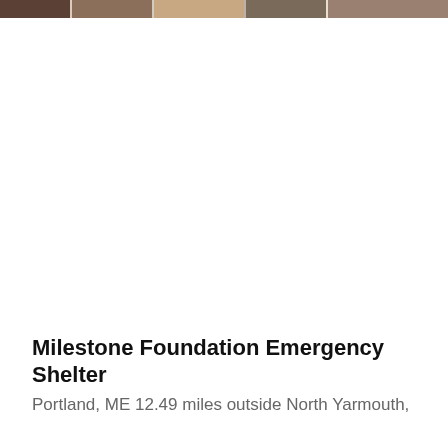[Figure (photo): A horizontal strip of photos showing people, likely related to the Milestone Foundation Emergency Shelter. The images appear to show individuals in a shelter or community setting.]
Milestone Foundation Emergency Shelter
Portland, ME 12.49 miles outside North Yarmouth,